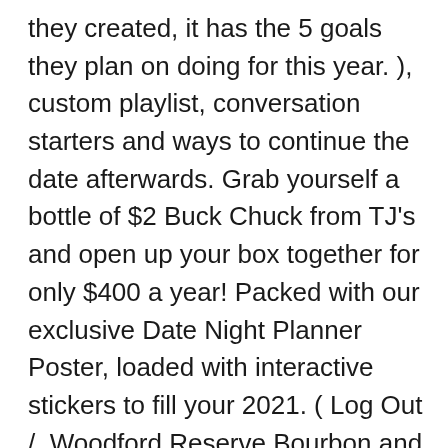they created, it has the 5 goals they plan on doing for this year. ), custom playlist, conversation starters and ways to continue the date afterwards. Grab yourself a bottle of $2 Buck Chuck from TJ's and open up your box together for only $400 a year! Packed with our exclusive Date Night Planner Poster, loaded with interactive stickers to fill your 2021. ( Log Out /  Woodford Reserve Bourbon and Ice together with the Apple Cider Mixture they provided. 7.5. good. (Vegetarian), Ale Mary's Royal Oak New Menu Additions! Now TV Smart Box review Basic Freeview and catch-up, and access to Sky's content, but still no Netflix or Amazon video By Jon Porter 26 July 2018 The kit included tastefully designed artwork for us to record our answers and hang up as a remembrance. Â Send the kids to grandmas and get your DateBox on:). Enable notifications to get the latest Date Box Club email campaigns and updates...